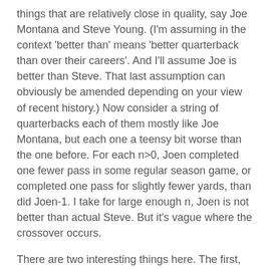things that are relatively close in quality, say Joe Montana and Steve Young. (I'm assuming in the context 'better than' means 'better quarterback than over their careers'. And I'll assume Joe is better than Steve. That last assumption can obviously be amended depending on your view of recent history.) Now consider a string of quarterbacks each of them mostly like Joe Montana, but each one a teensy bit worse than the one before. For each n>0, Joen completed one fewer pass in some regular season game, or completed one pass for slightly fewer yards, than did Joen-1. I take for large enough n, Joen is not better than actual Steve. But it's vague where the crossover occurs.
There are two interesting things here. The first, which I already pointed to, is that I don't think this is a sorites argument. The implicit generating step seems to be, 'for any n, if Joe-n is better than Quarterback X, then so is Joe-n-1. But that's not just non-intuitive, it's obviously false -- let Quarterback X equal Joe-n-1. So I don't think this is a